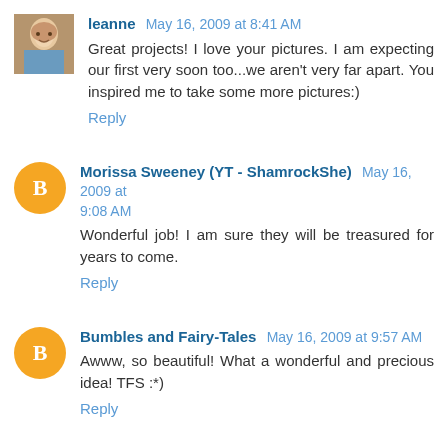[Figure (photo): Small avatar photo of a person holding a baby]
leanne May 16, 2009 at 8:41 AM
Great projects! I love your pictures. I am expecting our first very soon too...we aren't very far apart. You inspired me to take some more pictures:)
Reply
[Figure (logo): Blogger orange circle B logo avatar]
Morissa Sweeney (YT - ShamrockShe) May 16, 2009 at 9:08 AM
Wonderful job! I am sure they will be treasured for years to come.
Reply
[Figure (logo): Blogger orange circle B logo avatar]
Bumbles and Fairy-Tales May 16, 2009 at 9:57 AM
Awww, so beautiful! What a wonderful and precious idea! TFS :*)
Reply